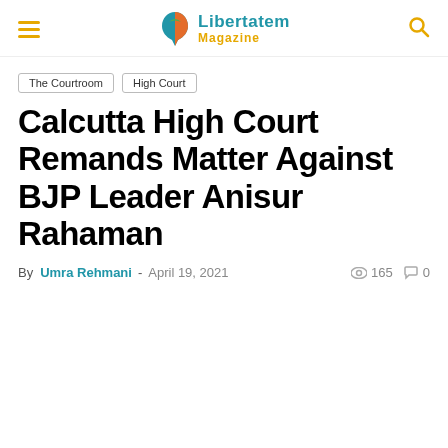Libertatem Magazine
The Courtroom
High Court
Calcutta High Court Remands Matter Against BJP Leader Anisur Rahaman
By Umra Rehmani - April 19, 2021  165  0